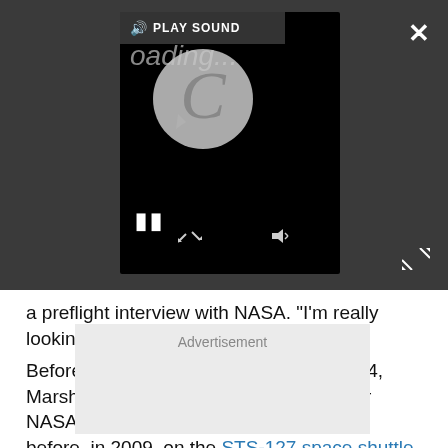[Figure (screenshot): Video player embedded in a dark overlay bar. Shows a loading spinner (circular arrow with 'C' shape), a play sound button at top, pause button (||), speaker icons, expand/compress arrows. Close (X) button top right. Dark gray background.]
a preflight interview with NASA. "I'm really looking forward to it."
Before joining the astronaut corps in 2004, Marshburn worked as a flight surgeon for NASA. He flew to the space station once before, in 2009, on the STS-127 space shuttle mission.
[Figure (other): Advertisement placeholder box with light gray background and text 'Advertisement']